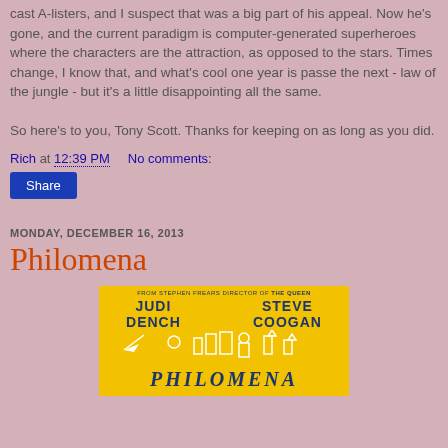cast A-listers, and I suspect that was a big part of his appeal. Now he's gone, and the current paradigm is computer-generated superheroes where the characters are the attraction, as opposed to the stars. Times change, I know that, and what's cool one year is passe the next - law of the jungle - but it's a little disappointing all the same.

So here's to you, Tony Scott. Thanks for keeping on as long as you did.
Rich at 12:39 PM    No comments:
Share
MONDAY, DECEMBER 16, 2013
Philomena
[Figure (photo): Movie poster for Philomena featuring yellow background with text 'FROM STEPHEN FREARS DIRECTOR OF THE QUEEN', 'JUDI DENCH', 'STEVE COOGAN', and 'PHILOMENA' at the bottom in dark blue letters, with white illustrated silhouettes.]